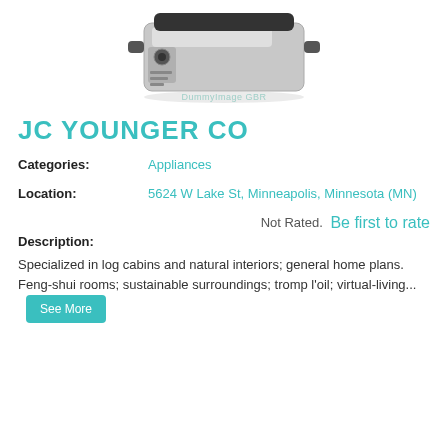[Figure (photo): Partial view of a stainless steel kitchen appliance (slow cooker or roaster) with a black lid and control knob, shown from above-front angle. A watermark reads 'DummyImage GBR'.]
JC YOUNGER CO
Categories: Appliances
Location: 5624 W Lake St, Minneapolis, Minnesota (MN)
Not Rated. Be first to rate
Description:
Specialized in log cabins and natural interiors; general home plans. Feng-shui rooms; sustainable surroundings; tromp l'oil; virtual-living... See More